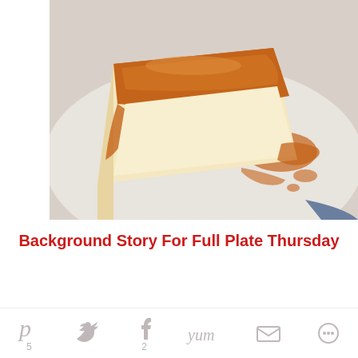[Figure (photo): Close-up photo of a slice of flan (caramel custard) on a white plate with caramel sauce drizzled around it]
Background Story For Full Plate Thursday
When we were young and just starting out in life
[Figure (other): Social sharing toolbar with Pinterest (5), Twitter, Facebook (2), Yummly, Email, and another share icon]